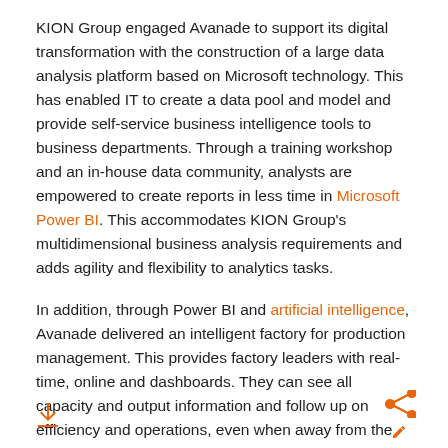KION Group engaged Avanade to support its digital transformation with the construction of a large data analysis platform based on Microsoft technology. This has enabled IT to create a data pool and model and provide self-service business intelligence tools to business departments. Through a training workshop and an in-house data community, analysts are empowered to create reports in less time in Microsoft Power BI. This accommodates KION Group's multidimensional business analysis requirements and adds agility and flexibility to analytics tasks.
In addition, through Power BI and artificial intelligence, Avanade delivered an intelligent factory for production management. This provides factory leaders with real-time, online and dashboards. They can see all capacity and output information and follow up on efficiency and operations, even when away from the shop floor.
Previously, report data was collected manually. Today, KION Group updates metrics in near real-time and engages service engineers through mixed-reality technology from Microsoft Dynamics 365, remote